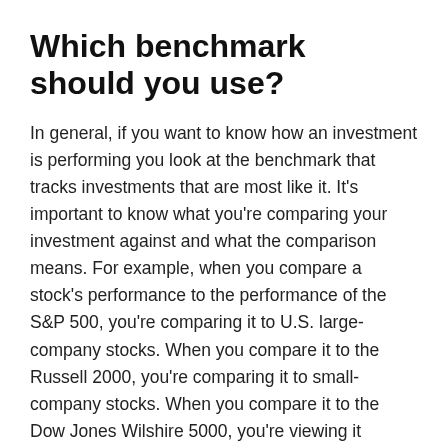Which benchmark should you use?
In general, if you want to know how an investment is performing you look at the benchmark that tracks investments that are most like it. It's important to know what you're comparing your investment against and what the comparison means. For example, when you compare a stock's performance to the performance of the S&P 500, you're comparing it to U.S. large-company stocks. When you compare it to the Russell 2000, you're comparing it to small-company stocks. When you compare it to the Dow Jones Wilshire 5000, you're viewing it against the field of all listed U.S. stocks.
It makes sense to compare the performance of a large-company stock or large-company mutual fund to large-company stock indexes, and small-company stocks or funds to small-company stock indexes. If